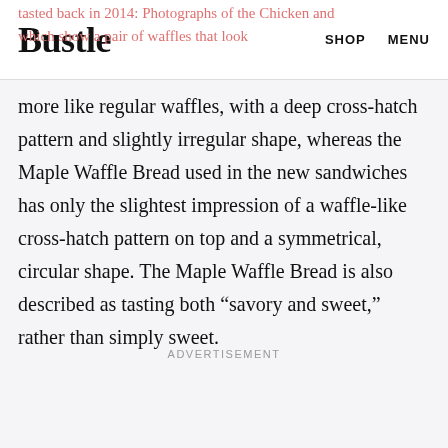Bustle   SHOP   MENU
tasted back in 2014: Photographs of the Chicken and which show a pair of waffles that look more like regular waffles, with a deep cross-hatch pattern and slightly irregular shape, whereas the Maple Waffle Bread used in the new sandwiches has only the slightest impression of a waffle-like cross-hatch pattern on top and a symmetrical, circular shape. The Maple Waffle Bread is also described as tasting both “savory and sweet,” rather than simply sweet.
ADVERTISEMENT